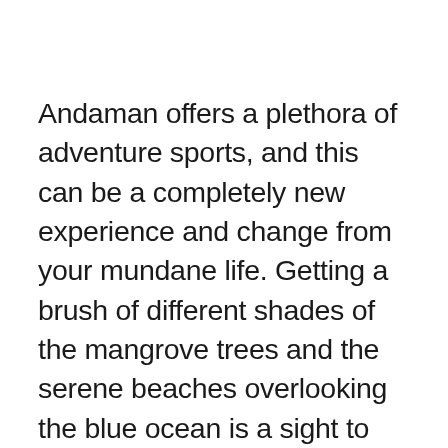Andaman offers a plethora of adventure sports, and this can be a completely new experience and change from your mundane life. Getting a brush of different shades of the mangrove trees and the serene beaches overlooking the blue ocean is a sight to